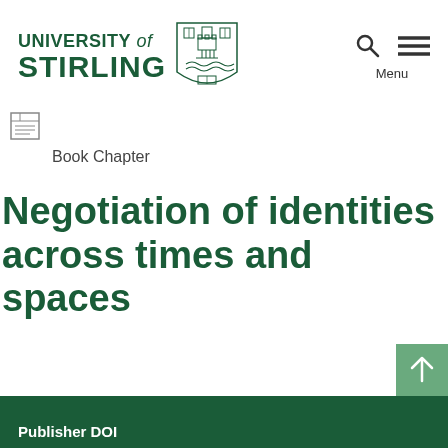UNIVERSITY of STIRLING
Book Chapter
Negotiation of identities across times and spaces
Publisher DOI